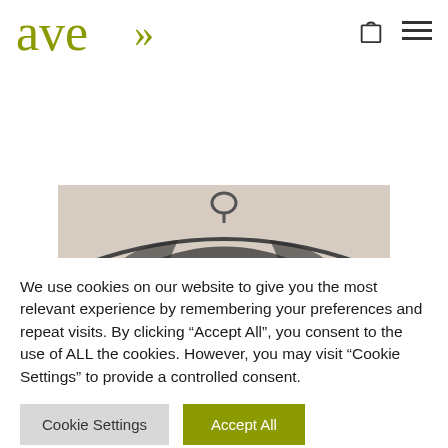[Figure (logo): ave>> brand logo in olive/yellow-green color with chevron marks]
[Figure (photo): Photo of dark clothing on a clothes hanger against a light background, partially visible]
We use cookies on our website to give you the most relevant experience by remembering your preferences and repeat visits. By clicking “Accept All”, you consent to the use of ALL the cookies. However, you may visit "Cookie Settings" to provide a controlled consent.
Cookie Settings
Accept All